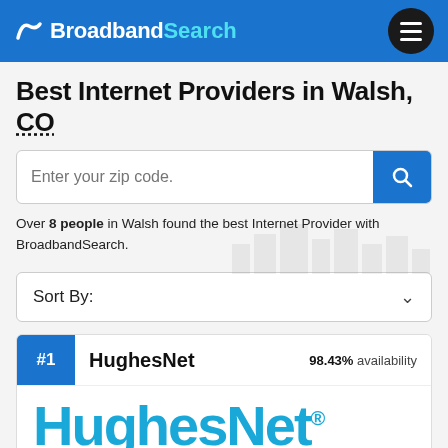Broadband Search
Best Internet Providers in Walsh, CO
Enter your zip code.
Over 8 people in Walsh found the best Internet Provider with BroadbandSearch.
Sort By:
#1  HughesNet  98.43% availability
[Figure (logo): HughesNet logo in cyan/blue color]
Speed up to: 25 Mbps   Price from: $69.99   User Review: (stars)